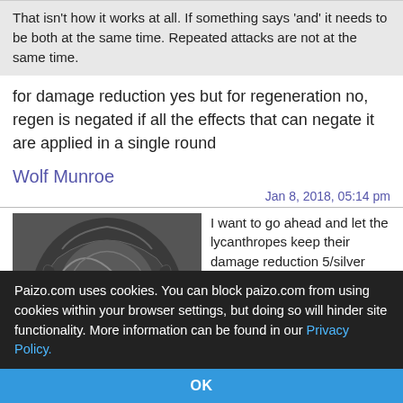That isn't how it works at all. If something says 'and' it needs to be both at the same time. Repeated attacks are not at the same time.
for damage reduction yes but for regeneration no, regen is negated if all the effects that can negate it are applied in a single round
Wolf Munroe
Jan 8, 2018, 05:14 pm
[Figure (photo): Avatar image of a dark fantasy creature with swirling patterns]
I want to go ahead and let the lycanthropes keep their damage reduction 5/silver and 10/silver respectively, so I'm going to give them regeneration 5 regardless of whether they're afflicted or natural lycanthropes. Giving the natural lycanthropes DR 10/silver and regeneration
Paizo.com uses cookies. You can block paizo.com from using cookies within your browser settings, but doing so will hinder site functionality. More information can be found in our Privacy Policy.
OK